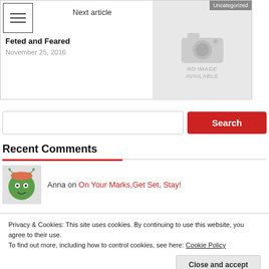Next article
[Figure (screenshot): Uncategorized article card with hamburger menu, title 'Feted and Feared', date 'November 25, 2016', and a no-image placeholder thumbnail labeled 'NO IMAGE AVAILABLE']
Feted and Feared
November 25, 2016
Search
Recent Comments
Anna on On Your Marks,Get Set, Stay!
Privacy & Cookies: This site uses cookies. By continuing to use this website, you agree to their use.
To find out more, including how to control cookies, see here: Cookie Policy
Close and accept